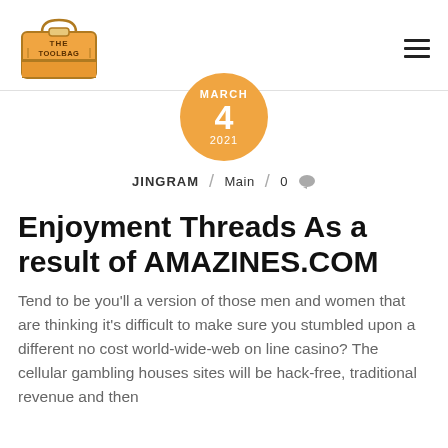[Figure (logo): The Toolbag logo — a hand-drawn orange toolbag/luggage illustration with 'THE TOOLBAG' text on it]
[Figure (infographic): Orange circle date badge showing MARCH 4 2021]
JINGRAM / Main / 0
Enjoyment Threads As a result of AMAZINES.COM
Tend to be you'll a version of those men and women that are thinking it's difficult to make sure you stumbled upon a different no cost world-wide-web on line casino? The cellular gambling houses sites will be hack-free, traditional revenue and then